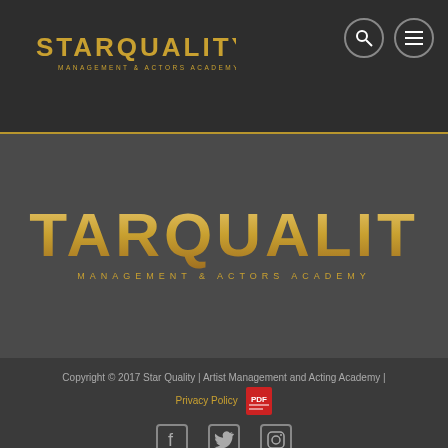[Figure (logo): Star Quality Management & Actors Academy logo in header - gold/yellow text on dark background]
[Figure (logo): Star Quality Management & Actors Academy large logo centered in main gray area - gold gradient text]
Copyright © 2017 Star Quality | Artist Management and Acting Academy | Privacy Policy
[Figure (other): Social media icons: Facebook, Twitter, Instagram]